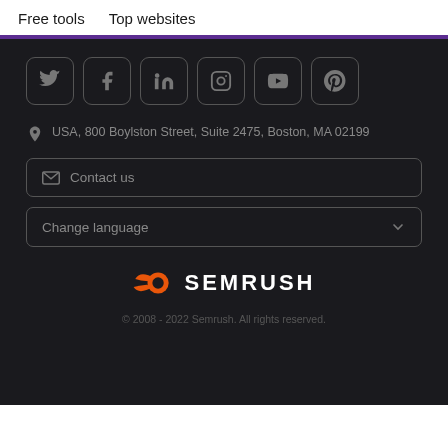Free tools   Top websites
[Figure (other): Social media icons in rounded square boxes: Twitter, Facebook, LinkedIn, Instagram, YouTube, Pinterest]
USA, 800 Boylston Street, Suite 2475, Boston, MA 02199
Contact us
Change language
[Figure (logo): Semrush logo with orange comet/circle icon and white SEMRUSH text]
© 2008 - 2022 Semrush. All rights reserved.